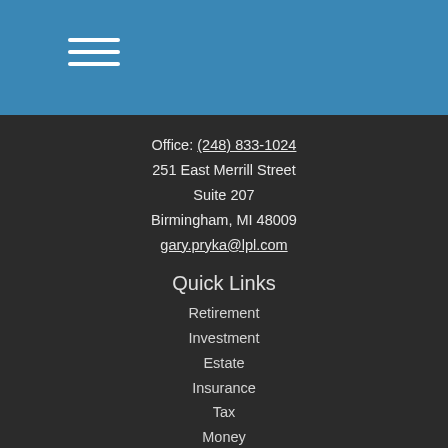[Figure (other): Blue header bar with hamburger menu icon (three horizontal white lines)]
Office: (248) 833-1024
251 East Merrill Street
Suite 207
Birmingham, MI 48009
gary.pryka@lpl.com
Quick Links
Retirement
Investment
Estate
Insurance
Tax
Money
Lifestyle
All Articles
All Videos
All Calculators
All Presentations